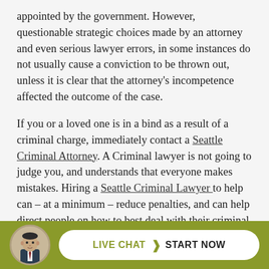appointed by the government. However, questionable strategic choices made by an attorney and even serious lawyer errors, in some instances do not usually cause a conviction to be thrown out, unless it is clear that the attorney's incompetence affected the outcome of the case.
If you or a loved one is in a bind as a result of a criminal charge, immediately contact a Seattle Criminal Attorney. A Criminal lawyer is not going to judge you, and understands that everyone makes mistakes. Hiring a Seattle Criminal Lawyer to help can – at a minimum – reduce penalties, and can help direct people on how to best deal with their criminal charge, and many times even get them dismissed. So it should go without saying that someo...d fo...hire a
[Figure (infographic): Live chat bar at the bottom of the page with a circular avatar photo of a man in a suit, and a white pill-shaped button reading 'LIVE CHAT > START NOW' on an olive/yellow-green background.]